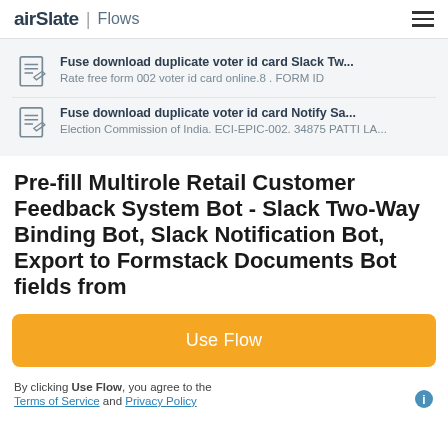airSlate | Flows
Fuse download duplicate voter id card Slack Tw...
Rate free form 002 voter id card online.8 . FORM ID
Fuse download duplicate voter id card Notify Sa...
Election Commission of India. ECI-EPIC-002. 34875 PATTI LA...
Pre-fill Multirole Retail Customer Feedback System Bot - Slack Two-Way Binding Bot, Slack Notification Bot, Export to Formstack Documents Bot fields from...
Use Flow
By clicking Use Flow, you agree to the Terms of Service and Privacy Policy